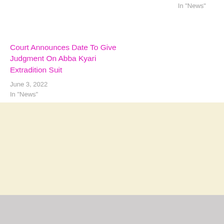In "News"
Court Announces Date To Give Judgment On Abba Kyari Extradition Suit
June 3, 2022
In "News"